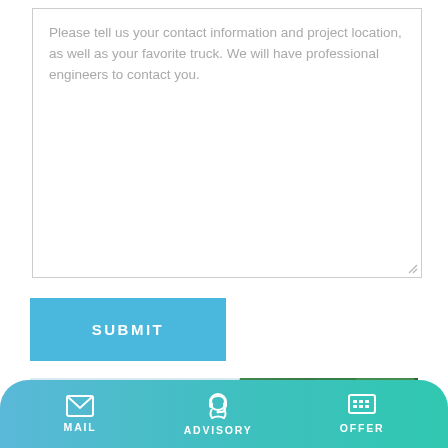Please tell us your contact information and project location, as well as your favorite truck. We will have professional engineers to contact you.
SUBMIT
[Figure (photo): Outdoor photo showing power line infrastructure with a blue metal frame structure and lush green tropical palm trees in the background under a light sky]
MAIL  ADVISORY  OFFER